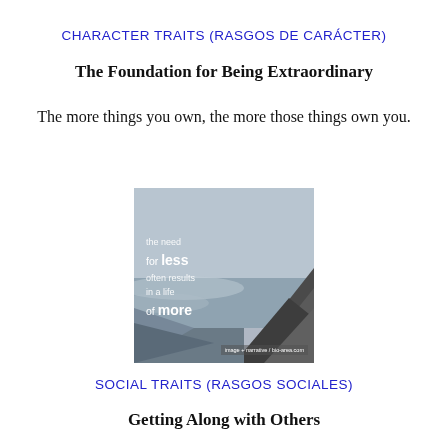CHARACTER TRAITS (RASGOS DE CARÁCTER)
The Foundation for Being Extraordinary
The more things you own, the more those things own you.
[Figure (illustration): Motivational image of rocky coastline with text overlay: 'the need for less often results in a life of more']
SOCIAL TRAITS (RASGOS SOCIALES)
Getting Along with Others